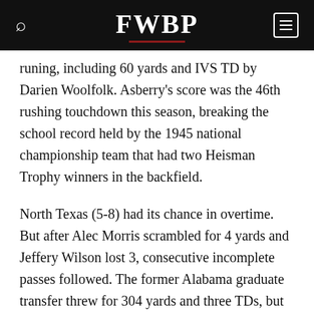FWBP
ruining, including 60 yards and IVS TD by Darien Woolfolk. Asberry's score was the 46th rushing touchdown this season, breaking the school record held by the 1945 national championship team that had two Heisman Trophy winners in the backfield.
North Texas (5-8) had its chance in overtime. But after Alec Morris scrambled for 4 yards and Jeffery Wilson lost 3, consecutive incomplete passes followed. The former Alabama graduate transfer threw for 304 yards and three TDs, but his desperation fourth-down throw on the run ended the game.
“We may not have accomplished our mission of